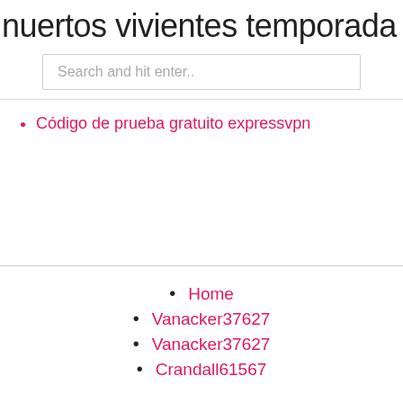nuertos vivientes temporada 1 episo…
Search and hit enter..
Código de prueba gratuito expressvpn
Home
Vanacker37627
Vanacker37627
Crandall61567